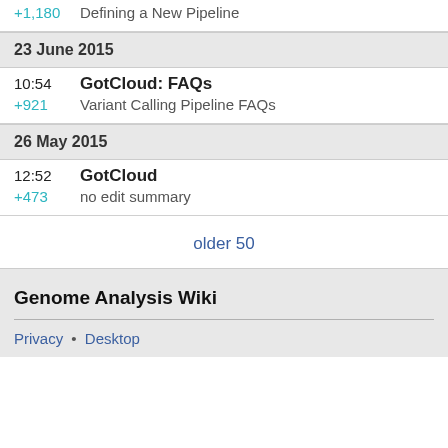+1,180   Defining a New Pipeline
23 June 2015
10:54   GotCloud: FAQs
+921   Variant Calling Pipeline FAQs
26 May 2015
12:52   GotCloud
+473   no edit summary
older 50
Genome Analysis Wiki
Privacy • Desktop